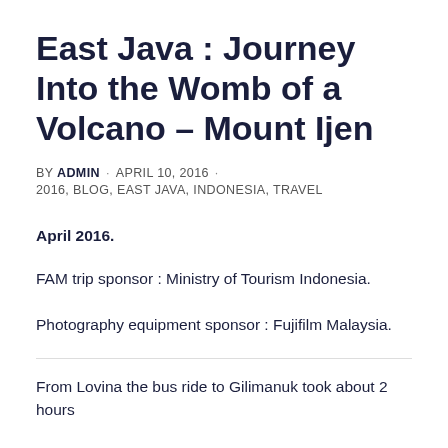East Java : Journey Into the Womb of a Volcano – Mount Ijen
BY ADMIN · APRIL 10, 2016 · 2016, BLOG, EAST JAVA, INDONESIA, TRAVEL
April 2016.
FAM trip sponsor : Ministry of Tourism Indonesia.
Photography equipment sponsor : Fujifilm Malaysia.
From Lovina the bus ride to Gilimanuk took about 2 hours